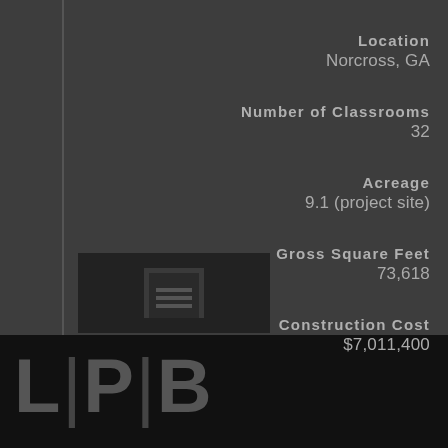Location
Norcross, GA
Number of Classrooms
32
Acreage
9.1 (project site)
Gross Square Feet
73,618
Construction Cost
$7,011,400
[Figure (logo): LPB architectural firm logo with large letters L, P, B separated by vertical bars on black background, with small building icon above]
L|P|B